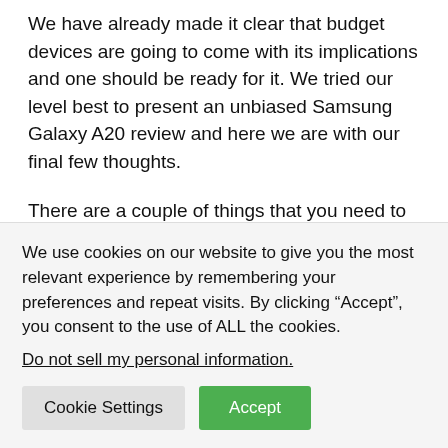We have already made it clear that budget devices are going to come with its implications and one should be ready for it. We tried our level best to present an unbiased Samsung Galaxy A20 review and here we are with our final few thoughts.
There are a couple of things that you need to consider before buying the Samsung Galaxy A20. First of all, you won't be enjoying a lot performance and speed from this device. It is going to give you lag headaches and a very
We use cookies on our website to give you the most relevant experience by remembering your preferences and repeat visits. By clicking “Accept”, you consent to the use of ALL the cookies.
Do not sell my personal information.